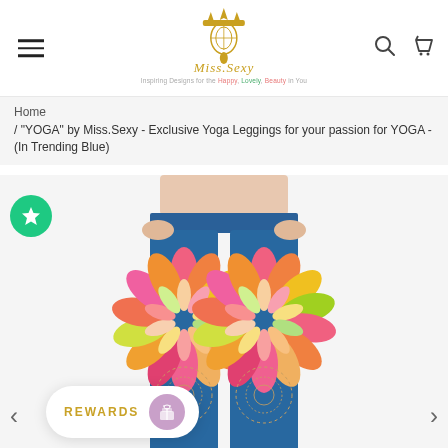Miss.Sexy — Inspiring Designs for the Happy, Lovely, Beauty in You
Home
/ "YOGA" by Miss.Sexy - Exclusive Yoga Leggings for your passion for YOGA - (In Trending Blue)
[Figure (photo): Model wearing blue yoga leggings with colorful mandala/floral pattern — shown from waist to mid-calf, hands on hips, against white background. The leggings feature a large multicolored (pink, orange, yellow, green) flower/sunburst mandala design on a blue base with decorative lace-like patterns on the lower leg.]
REWARDS